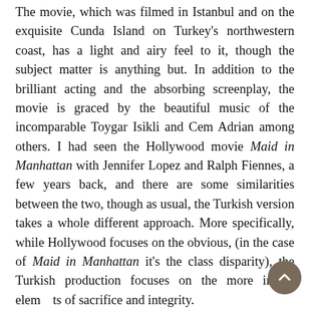The movie, which was filmed in Istanbul and on the exquisite Cunda Island on Turkey's northwestern coast, has a light and airy feel to it, though the subject matter is anything but. In addition to the brilliant acting and the absorbing screenplay, the movie is graced by the beautiful music of the incomparable Toygar Isikli and Cem Adrian among others. I had seen the Hollywood movie Maid in Manhattan with Jennifer Lopez and Ralph Fiennes, a few years back, and there are some similarities between the two, though as usual, the Turkish version takes a whole different approach. More specifically, while Hollywood focuses on the obvious, (in the case of Maid in Manhattan it's the class disparity), the Turkish production focuses on the more innate elements of sacrifice and integrity.